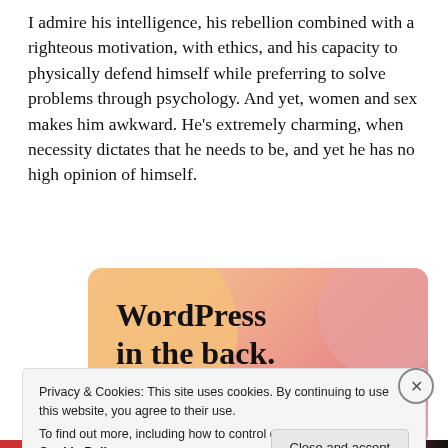I admire his intelligence, his rebellion combined with a righteous motivation, with ethics, and his capacity to physically defend himself while preferring to solve problems through psychology. And yet, women and sex makes him awkward. He's extremely charming, when necessity dictates that he needs to be, and yet he has no high opinion of himself.
[Figure (infographic): WordPress advertisement banner with colorful circular shapes in orange, pink, and mauve colors. Text reads 'WordPress in the back.' in bold serif font.]
Privacy & Cookies: This site uses cookies. By continuing to use this website, you agree to their use.
To find out more, including how to control cookies, see here: Cookie Policy